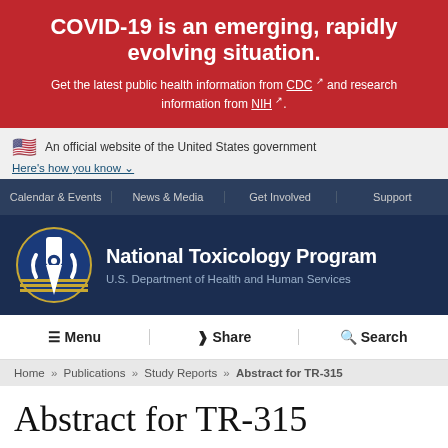COVID-19 is an emerging, rapidly evolving situation. Get the latest public health information from CDC and research information from NIH.
An official website of the United States government
Here's how you know
Calendar & Events | News & Media | Get Involved | Support
[Figure (logo): National Toxicology Program logo and header with U.S. Department of Health and Human Services]
Menu | Share | Search
Home » Publications » Study Reports » Abstract for TR-315
Abstract for TR-315